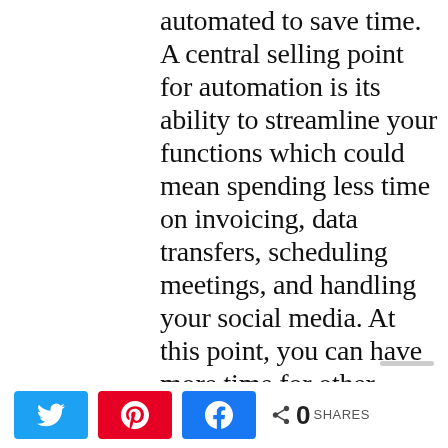automated to save time. A central selling point for automation is its ability to streamline your functions which could mean spending less time on invoicing, data transfers, scheduling meetings, and handling your social media. At this point, you can have more time for other pressing needs like increasing your sales and improving your service levels
Share buttons: Twitter, Pinterest, Facebook. 0 SHARES